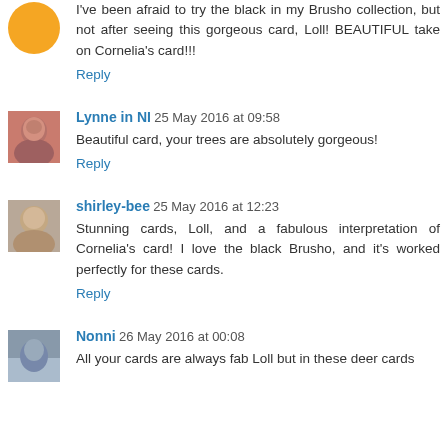I've been afraid to try the black in my Brusho collection, but not after seeing this gorgeous card, Loll! BEAUTIFUL take on Cornelia's card!!!
Reply
Lynne in NI 25 May 2016 at 09:58
Beautiful card, your trees are absolutely gorgeous!
Reply
shirley-bee 25 May 2016 at 12:23
Stunning cards, Loll, and a fabulous interpretation of Cornelia's card! I love the black Brusho, and it's worked perfectly for these cards.
Reply
Nonni 26 May 2016 at 00:08
All your cards are always fab Loll but in these deer cards